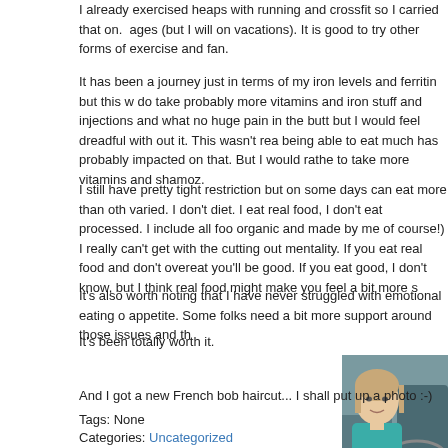I already exercised heaps with running and crossfit so I carried that on. ages (but I will on vacations). It is good to try other forms of exercise and fan.
It has been a journey just in terms of my iron levels and ferritin but this w do take probably more vitamins and iron stuff and injections and what no huge pain in the butt but I would feel dreadful with out it. This wasn't rea being able to eat much has probably impacted on that. But I would rathe to take more vitamins and shamoz.
I still have pretty tight restriction but on some days can eat more than ot varied. I don't diet. I eat real food, I don't eat processed. I include all foo organic and made by me of course!) I really can't get with the cutting out mentality. If you eat real food and don't overeat you'll be good. If you eat good, I don't know, but I think real food might make you feel a bit more s
It's also worth noting that I have never struggled with emotional eating o appetite. Some folks need a bit more support around those issues and th
It's been totally worth it.
[Figure (photo): A woman with a French bob haircut sitting in a car, wearing a teal/turquoise top.]
And I got a new French bob haircut... I shall put up a photo :-)
Tags: None
Categories: Uncategorized